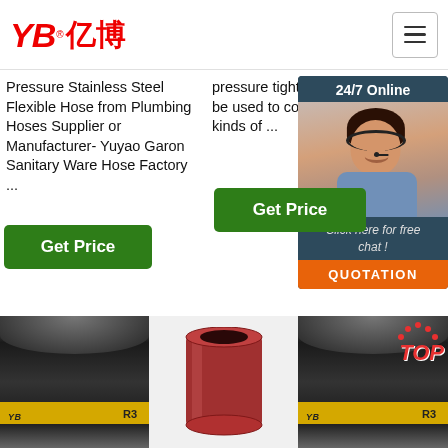[Figure (logo): YB亿博 company logo in red italic text with registered trademark symbol]
Pressure Stainless Steel Flexible Hose from Plumbing Hoses Supplier or Manufacturer- Yuyao Garon Sanitary Ware Hose Factory ...
pressure tightness. They can be used to convey most kinds of ...
[Figure (photo): Customer service representative photo with 24/7 Online label and Click here for free chat button and QUOTATION button]
Get Price
Get Price
[Figure (photo): Rubber hydraulic hose with yellow YB stripe and R3 marking]
[Figure (photo): Red end fitting / coupling cross-section]
[Figure (photo): Rubber hydraulic hose with yellow YB stripe, R3 marking, and TOP logo overlay]